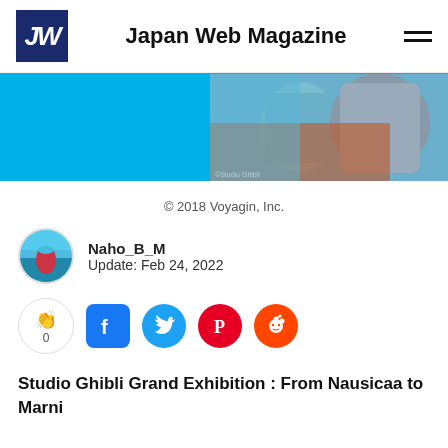Japan Web Magazine
[Figure (illustration): Banner image with cyan/blue background on left and anime-style illustration on right showing armored characters]
© 2018 Voyagin, Inc.
Naho_B_M
Update: Feb 24, 2022
[Figure (infographic): Social sharing buttons: clap (0), Facebook, Twitter, Pinterest, Reddit]
Studio Ghibli Grand Exhibition : From Nausicaa to Marni